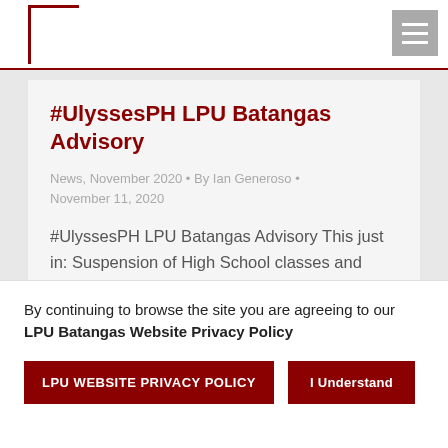LPU Batangas
#UlyssesPH LPU Batangas Advisory
News, November 2020 • By Ian Generoso • November 11, 2020
#UlyssesPH LPU Batangas Advisory This just in: Suspension of High School classes and shifting to the asynchronous mode for college at 12noon today November 11, 2020, due to tropical storm #UlyssesPH  #LPUBatangas #WalangPasok
By continuing to browse the site you are agreeing to our LPU Batangas Website Privacy Policy
LPU WEBSITE PRIVACY POLICY
I Understand